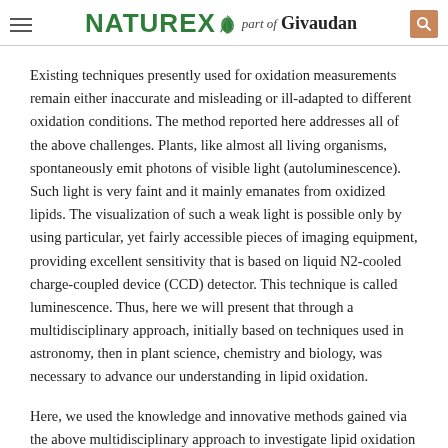NATUREX part of Givaudan
Existing techniques presently used for oxidation measurements remain either inaccurate and misleading or ill-adapted to different oxidation conditions. The method reported here addresses all of the above challenges. Plants, like almost all living organisms, spontaneously emit photons of visible light (autoluminescence). Such light is very faint and it mainly emanates from oxidized lipids. The visualization of such a weak light is possible only by using particular, yet fairly accessible pieces of imaging equipment, providing excellent sensitivity that is based on liquid N2-cooled charge-coupled device (CCD) detector. This technique is called luminescence. Thus, here we will present that through a multidisciplinary approach, initially based on techniques used in astronomy, then in plant science, chemistry and biology, was necessary to advance our understanding in lipid oxidation.
Here, we used the knowledge and innovative methods gained via the above multidisciplinary approach to investigate lipid oxidation in food matrices. We intend to show through case studies that just like